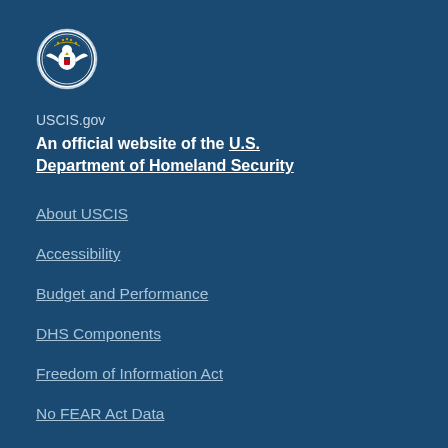[Figure (logo): DHS / Department of Homeland Security circular seal logo in white and gold on blue background]
USCIS.gov
An official website of the U.S. Department of Homeland Security
About USCIS
Accessibility
Budget and Performance
DHS Components
Freedom of Information Act
No FEAR Act Data
Privacy and Legal Disclaimers